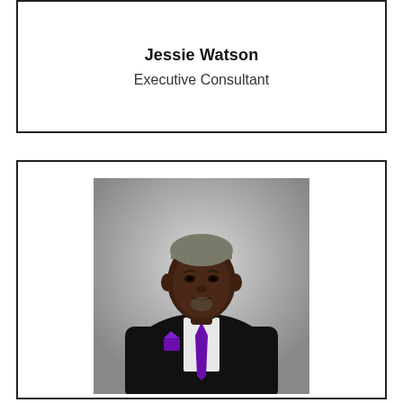Jessie Watson
Executive Consultant
[Figure (photo): Professional headshot of Jessie Watson, a man wearing a black suit jacket with a white dress shirt, purple tie, and purple pocket square, photographed against a grey studio background.]